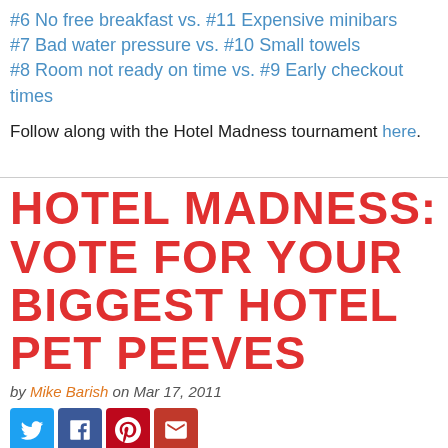#6 No free breakfast vs. #11 Expensive minibars
#7 Bad water pressure vs. #10 Small towels
#8 Room not ready on time vs. #9 Early checkout times
Follow along with the Hotel Madness tournament here.
HOTEL MADNESS: VOTE FOR YOUR BIGGEST HOTEL PET PEEVES
by Mike Barish on Mar 17, 2011
[Figure (infographic): Social sharing buttons: Twitter, Facebook, Pinterest, Email]
We launched our Hotel Madness tournament on Monday and the entire first round is now live. If you don't know what Hotel Madness is or you just need a refresher, check out our introductory post. First round voting is open until 11:59pm EDT